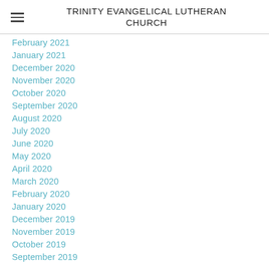TRINITY EVANGELICAL LUTHERAN CHURCH
February 2021
January 2021
December 2020
November 2020
October 2020
September 2020
August 2020
July 2020
June 2020
May 2020
April 2020
March 2020
February 2020
January 2020
December 2019
November 2019
October 2019
September 2019